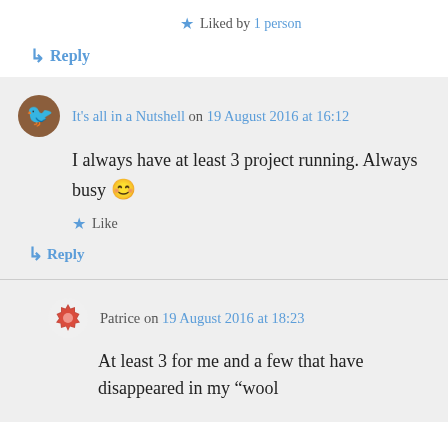Liked by 1 person
↳ Reply
It's all in a Nutshell on 19 August 2016 at 16:12
I always have at least 3 project running. Always busy 😊
Like
↳ Reply
Patrice on 19 August 2016 at 18:23
At least 3 for me and a few that have disappeared in my "wool